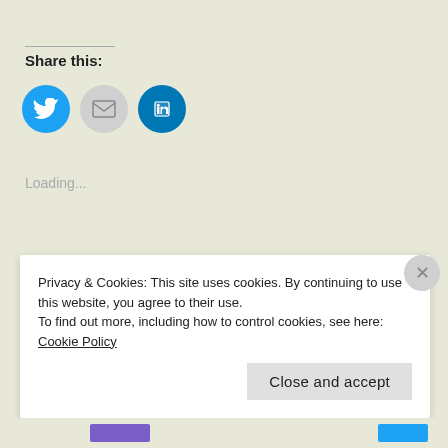Share this:
[Figure (infographic): Social sharing icons: Twitter (blue circle), Email (gray circle), LinkedIn (blue circle)]
Loading...
[Figure (photo): Partial photo of a child's face, wearing a white knit hat, peeking above the lower edge of the content area, green background]
Privacy & Cookies: This site uses cookies. By continuing to use this website, you agree to their use.
To find out more, including how to control cookies, see here: Cookie Policy
Close and accept